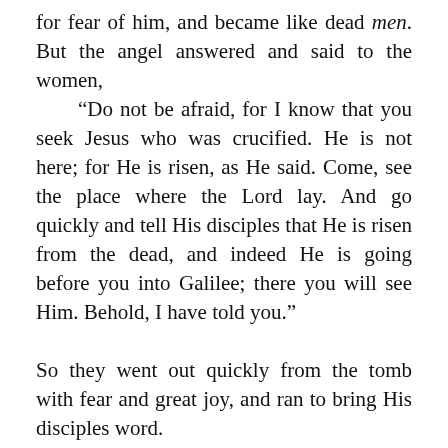for fear of him, and became like dead men. But the angel answered and said to the women, “Do not be afraid, for I know that you seek Jesus who was crucified. He is not here; for He is risen, as He said. Come, see the place where the Lord lay. And go quickly and tell His disciples that He is risen from the dead, and indeed He is going before you into Galilee; there you will see Him. Behold, I have told you.” So they went out quickly from the tomb with fear and great joy, and ran to bring His disciples word. (Matthew 28:1-8)
Don’t miss this! Take 15% OFF your purchase of $50 or more. Use coupon code: 15OFF50
Go Shop
Dismiss